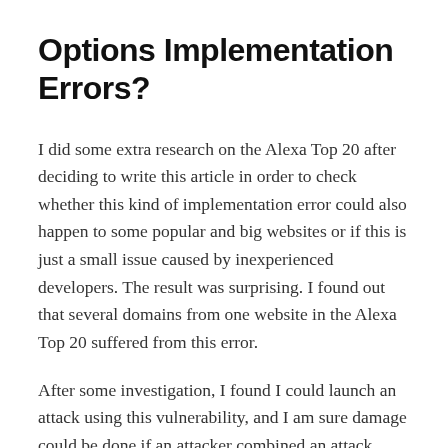Options Implementation Errors?
I did some extra research on the Alexa Top 20 after deciding to write this article in order to check whether this kind of implementation error could also happen to some popular and big websites or if this is just a small issue caused by inexperienced developers. The result was surprising. I found out that several domains from one website in the Alexa Top 20 suffered from this error.
After some investigation, I found I could launch an attack using this vulnerability, and I am sure damage could be done if an attacker combined an attack against this vulnerability with some social